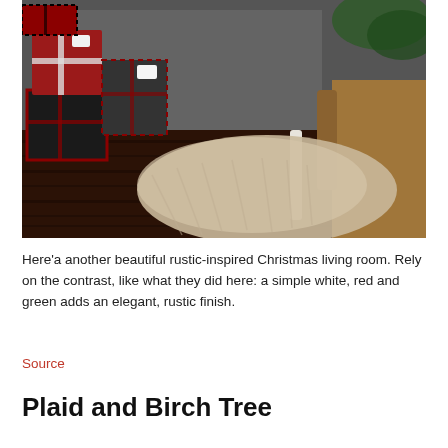[Figure (photo): A rustic Christmas living room scene showing dark hardwood floors with wrapped Christmas gifts in red, black and plaid patterns stacked in the left corner, a shaggy beige rug in the center, a white coffee table leg, and a brown sofa on the right, with a fireplace and greenery in the background.]
Here'a another beautiful rustic-inspired Christmas living room. Rely on the contrast, like what they did here: a simple white, red and green adds an elegant, rustic finish.
Source
Plaid and Birch Tree